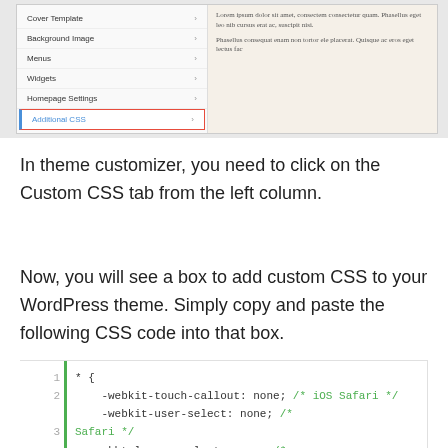[Figure (screenshot): WordPress theme customizer screenshot showing menu panel with Cover Template, Background Image, Menus, Widgets, Homepage Settings, and Additional CSS (highlighted in red box) options, alongside a preview panel with Lorem ipsum text.]
In theme customizer, you need to click on the Custom CSS tab from the left column.
Now, you will see a box to add custom CSS to your WordPress theme. Simply copy and paste the following CSS code into that box.
[Figure (screenshot): Code block showing CSS code with line numbers 1-5 and green border on left. Lines: 1: * {, 2: -webkit-touch-callout: none; /* iOS Safari */, 3: -webkit-user-select: none; /* Safari */, 4: -khtml-user-select: none; /* Konqueror HTML */, 5: -moz-user-select: none; /*]